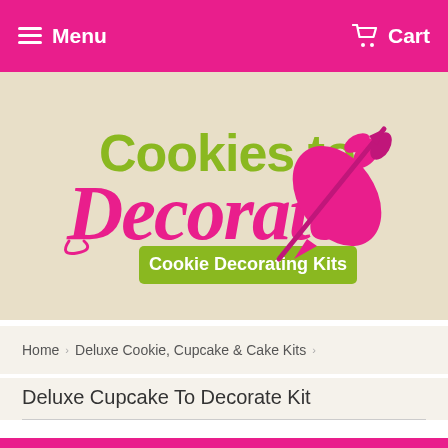Menu   Cart
[Figure (logo): Cookies to Decorate - Cookie Decorating Kits logo with a pink icing piping bag and green lettering on a cream background]
Home  >  Deluxe Cookie, Cupcake & Cake Kits  >
Deluxe Cupcake To Decorate Kit